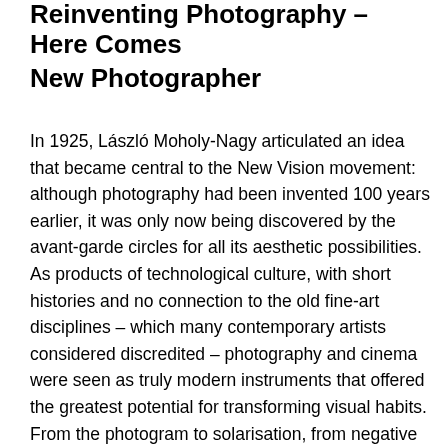Reinventing Photography – Here Comes New Photographer
In 1925, László Moholy-Nagy articulated an idea that became central to the New Vision movement: although photography had been invented 100 years earlier, it was only now being discovered by the avant-garde circles for all its aesthetic possibilities. As products of technological culture, with short histories and no connection to the old fine-art disciplines – which many contemporary artists considered discredited – photography and cinema were seen as truly modern instruments that offered the greatest potential for transforming visual habits. From the photogram to solarisation, from negative prints to double exposures, the New Vision photographers explored the medium in countless ways, rediscovering known